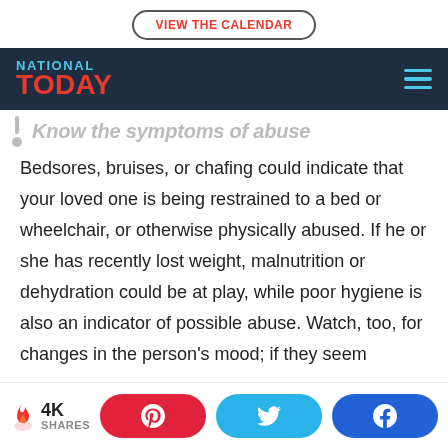VIEW THE CALENDAR
[Figure (logo): National Today logo with navigation bar]
Know the symptoms of abuse
Bedsores, bruises, or chafing could indicate that your loved one is being restrained to a bed or wheelchair, or otherwise physically abused. If he or she has recently lost weight, malnutrition or dehydration could be at play, while poor hygiene is also an indicator of possible abuse. Watch, too, for changes in the person's mood; if they seem
4K SHARES [Pinterest] [Twitter] [Facebook]